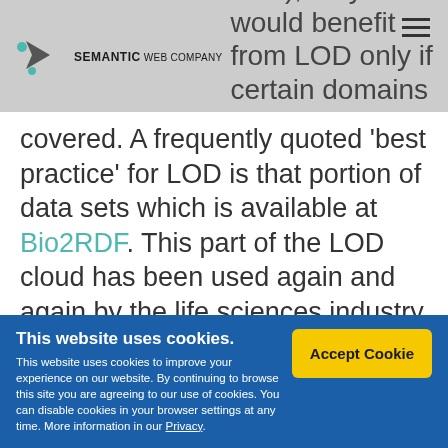Semantic Web Company
publicly available knowledge (SNE data), they would benefit from LOD only if certain domains were covered. A frequently quoted ‘best practice’ for LOD is that portion of data sets which is available at Bio2RDF. This part of the LOD cloud has been used again and again by the life sciences industry due to its specific information and
This website uses cookies. This website uses cookies to improve your experience on our website. By continuing to browse this site you are agreeing to our use of cookies. You can disable cookies in your browser settings at any time. More information in our Privacy.